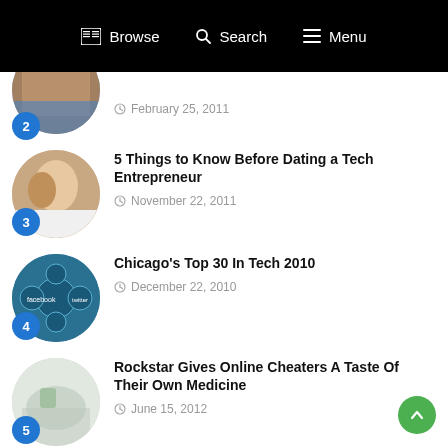Browse  Search  Menu
February 25, 2011
5 Things to Know Before Dating a Tech Entrepreneur
November 22, 2011
Chicago's Top 30 In Tech 2010
December 22, 2010
Rockstar Gives Online Cheaters A Taste Of Their Own Medicine
June 15, 2012